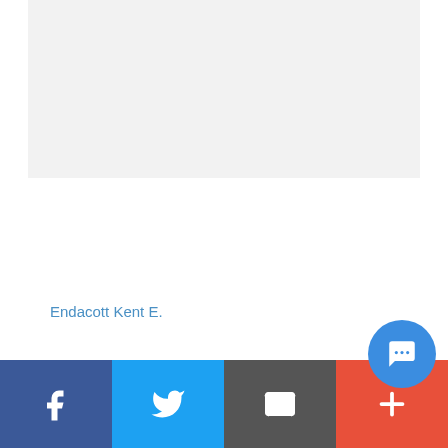[Figure (other): Gray card placeholder region (top)]
Endacott Kent E.
[Figure (other): Gray card placeholder region (bottom)]
Karas Kevin R
[Figure (infographic): Social sharing bar with Facebook, Twitter, Email, and More (+) buttons, plus a chat bubble overlay]